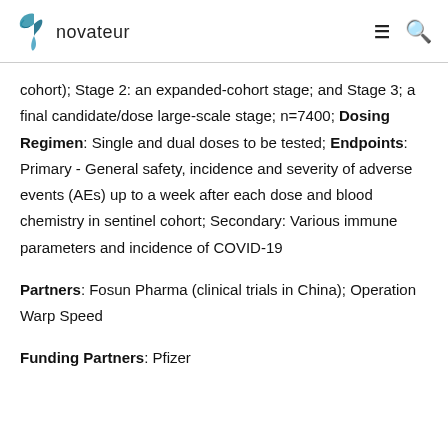novateur
cohort); Stage 2: an expanded-cohort stage; and Stage 3; a final candidate/dose large-scale stage; n=7400; Dosing Regimen: Single and dual doses to be tested; Endpoints: Primary - General safety, incidence and severity of adverse events (AEs) up to a week after each dose and blood chemistry in sentinel cohort; Secondary: Various immune parameters and incidence of COVID-19
Partners: Fosun Pharma (clinical trials in China); Operation Warp Speed
Funding Partners: Pfizer